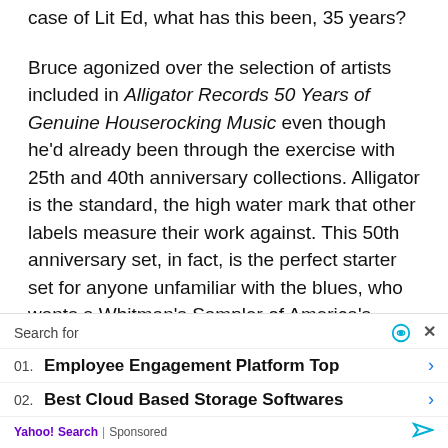case of Lit Ed, what has this been, 35 years?
Bruce agonized over the selection of artists included in Alligator Records 50 Years of Genuine Houserocking Music even though he'd already been through the exercise with 25th and 40th anniversary collections. Alligator is the standard, the high water mark that other labels measure their work against. This 50th anniversary set, in fact, is the perfect starter set for anyone unfamiliar with the blues, who wants a Whitman's Sampler of America's music.
“It was so hard to figure what not to include because even though I had three CDs which meant over 230 minut... ave off a r... decisi...
[Figure (other): Yahoo Search sponsored ad overlay with close button, Search for header with eye icon, two ad items: 01. Employee Engagement Platform Top, 02. Best Cloud Based Storage Softwares, and Yahoo! Search | Sponsored footer with arrow icon]